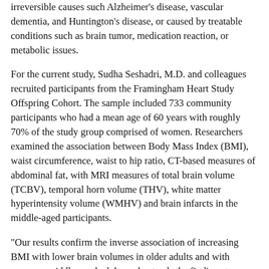irreversible causes such Alzheimer's disease, vascular dementia, and Huntington's disease, or caused by treatable conditions such as brain tumor, medication reaction, or metabolic issues.
For the current study, Sudha Seshadri, M.D. and colleagues recruited participants from the Framingham Heart Study Offspring Cohort. The sample included 733 community participants who had a mean age of 60 years with roughly 70% of the study group comprised of women. Researchers examined the association between Body Mass Index (BMI), waist circumference, waist to hip ratio, CT-based measures of abdominal fat, with MRI measures of total brain volume (TCBV), temporal horn volume (THV), white matter hyperintensity volume (WMHV) and brain infarcts in the middle-aged participants.
"Our results confirm the inverse association of increasing BMI with lower brain volumes in older adults and with younger, middle-aged adults and extends the findings to a much larger study sample," noted Dr. Seshadri. Prior studies were conducted in cohorts with less than 300 participants and the current study includes over 700 individuals.